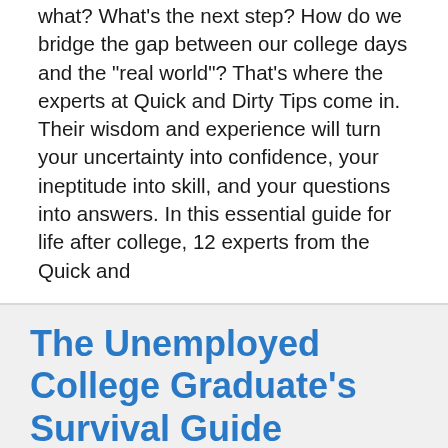what? What's the next step? How do we bridge the gap between our college days and the "real world"? That's where the experts at Quick and Dirty Tips come in. Their wisdom and experience will turn your uncertainty into confidence, your ineptitude into skill, and your questions into answers. In this essential guide for life after college, 12 experts from the Quick and
The Unemployed College Graduate's Survival Guide
[Figure (illustration): Partial view of a book cover for 'The Unemployed College Graduate's Survival Guide' showing a small figure and text snippet at the bottom of the page]